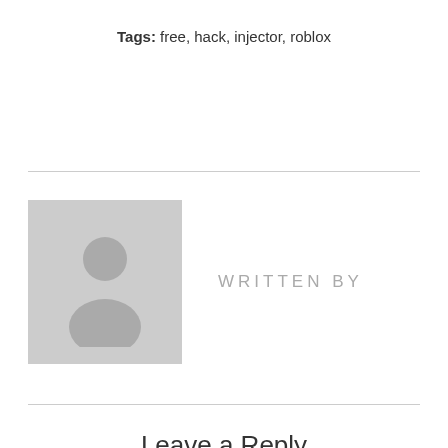Tags: free, hack, injector, roblox
[Figure (illustration): Author avatar placeholder showing a generic person silhouette on grey background with border, and text WRITTEN BY beside it]
Leave a Reply
Your email address will not be published.